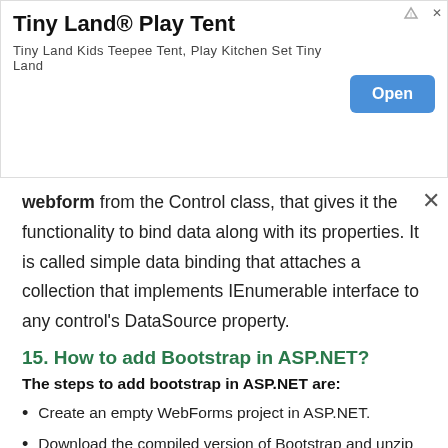[Figure (other): Advertisement banner for Tiny Land Play Tent with Open button]
webform from the Control class, that gives it the functionality to bind data along with its properties. It is called simple data binding that attaches a collection that implements IEnumerable interface to any control's DataSource property.
15. How to add Bootstrap in ASP.NET?
The steps to add bootstrap in ASP.NET are:
Create an empty WebForms project in ASP.NET.
Download the compiled version of Bootstrap and unzip the files.